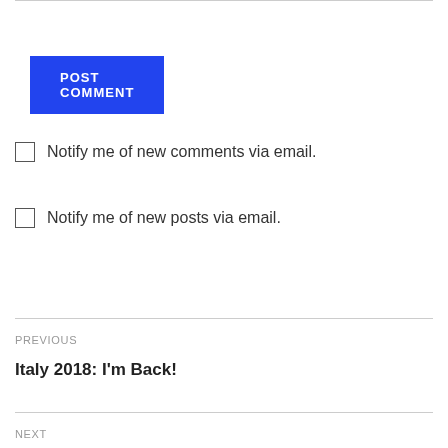[Figure (screenshot): POST COMMENT button — blue rectangle with white uppercase bold text]
Notify me of new comments via email.
Notify me of new posts via email.
PREVIOUS
Italy 2018: I'm Back!
NEXT